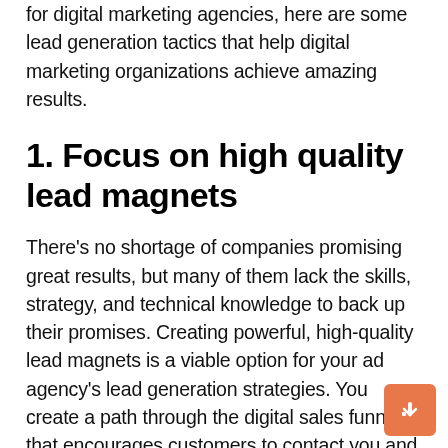for digital marketing agencies, here are some lead generation tactics that help digital marketing organizations achieve amazing results.
1. Focus on high quality lead magnets
There's no shortage of companies promising great results, but many of them lack the skills, strategy, and technical knowledge to back up their promises. Creating powerful, high-quality lead magnets is a viable option for your ad agency's lead generation strategies. You create a path through the digital sales funnel that encourages customers to contact you and offer their contact information.